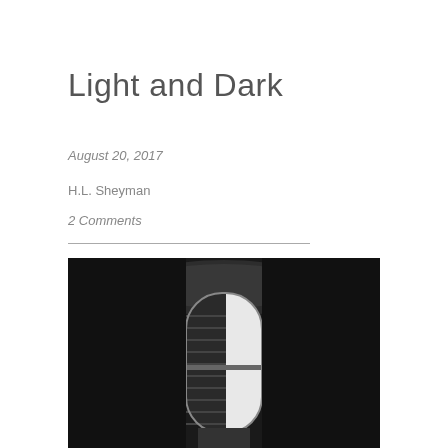Light and Dark
August 20, 2017
H.L. Sheyman
2 Comments
[Figure (photo): Black and white photograph of a window with shutters, half-open, showing bright light outside contrasted against a dark interior room.]